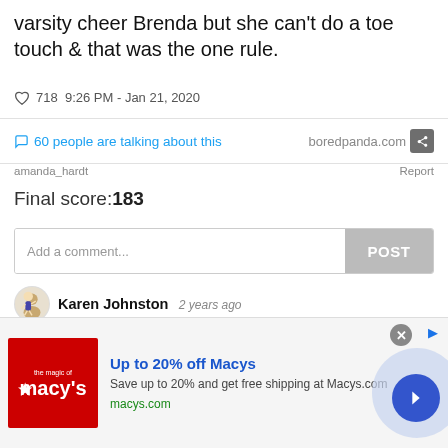varsity cheer Brenda but she can't do a toe touch & that was the one rule.
718  9:26 PM - Jan 21, 2020
60 people are talking about this   boredpanda.com
amanda_hardt   Report
Final score:183
Add a comment...   POST
Karen Johnston  2 years ago
Oh thank god you didn't use Karen....
138   Reply
View More Replies...
[Figure (infographic): Macy's advertisement banner: red Macy's logo on left, text 'Up to 20% off Macys', 'Save up to 20% and get free shipping at Macys.com', 'macys.com', blue circle with right arrow on right side.]